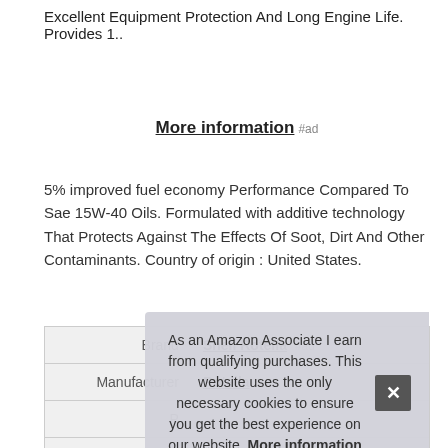Excellent Equipment Protection And Long Engine Life. Provides 1..
More information #ad
5% improved fuel economy Performance Compared To Sae 15W-40 Oils. Formulated with additive technology That Protects Against The Effects Of Soot, Dirt And Other Contaminants. Country of origin : United States.
|  |  |
| --- | --- |
| Brand | Shell Rotella #ad |
| Manufacturer | Rotella #ad |
| P |  |
As an Amazon Associate I earn from qualifying purchases. This website uses the only necessary cookies to ensure you get the best experience on our website. More information